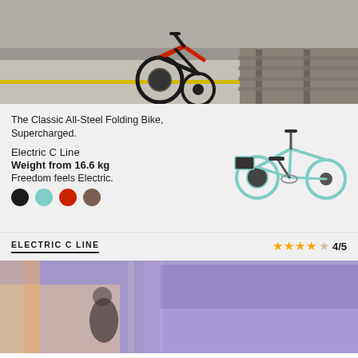[Figure (photo): Folded red and black electric bike on a train station platform, with railway tracks visible on the right side.]
The Classic All-Steel Folding Bike, Supercharged.
Electric C Line
Weight from 16.6 kg
Freedom feels Electric.
[Figure (illustration): Teal electric folding bike (Electric C Line) shown in unfolded riding position with battery pack on rear.]
ELECTRIC C LINE
★★★★☆ 4/5
[Figure (photo): Motion-blurred photo of a cyclist riding through a purple-lit underground or urban space.]